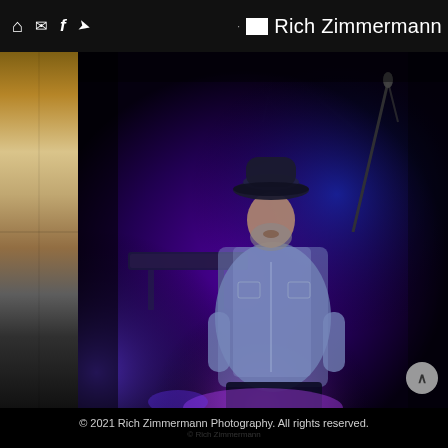Rich Zimmermann Photography – navigation header with home, mail, facebook, share icons
[Figure (photo): Concert performance photo: a man wearing a cowboy hat and patterned western shirt singing at a microphone on a dark stage lit with purple/blue stage lights. Musical equipment visible in background.]
© 2021 Rich Zimmermann Photography. All rights reserved.